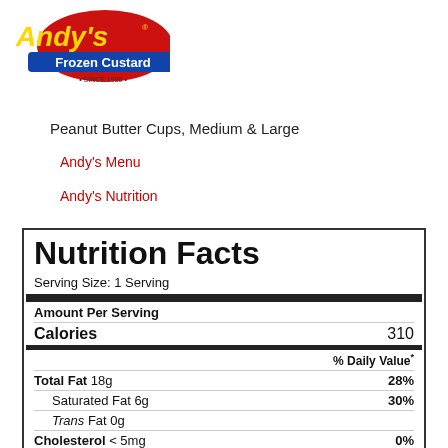[Figure (logo): Andy's Frozen Custard logo with red background, yellow script text 'Andy's', blue text 'Frozen Custard', 'SINCE 1986']
Peanut Butter Cups, Medium & Large
Andy's Menu
Andy's Nutrition
| Nutrition Facts |  |
| --- | --- |
| Serving Size: 1 Serving |  |
| Amount Per Serving |  |
| Calories | 310 |
|  | % Daily Value* |
| Total Fat 18g | 28% |
| Saturated Fat 6g | 30% |
| Trans Fat 0g |  |
| Cholesterol < 5mg | 0% |
| Sodium 310mg | 0% |